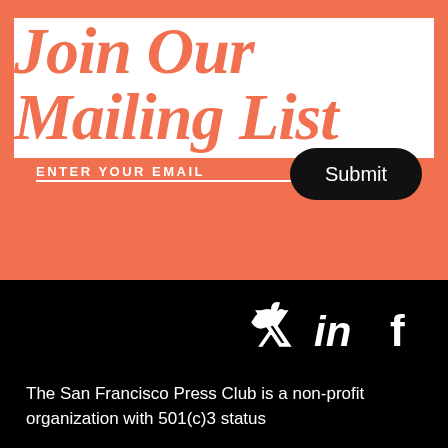Join Our Mailing List
ENTER YOUR EMAIL
Submit
[Figure (illustration): Social media icons: Twitter bird, LinkedIn 'in', Facebook 'f' in white on black background]
The San Francisco Press Club is a non-profit organization with 501(c)3 status